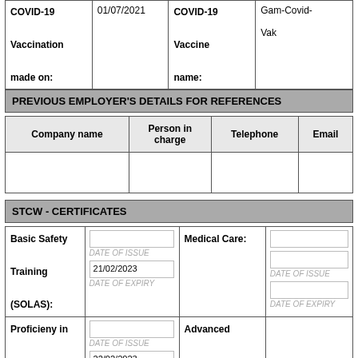| COVID-19 Vaccination made on: | Date | COVID-19 Vaccine name: | Vaccine Name |
| --- | --- | --- | --- |
| COVID-19 Vaccination made on: | 01/07/2021 | COVID-19 Vaccine name: | Gam-Covid-Vak |
PREVIOUS EMPLOYER'S DETAILS FOR REFERENCES
| Company name | Person in charge | Telephone | Email |
| --- | --- | --- | --- |
|  |  |  |  |
STCW - CERTIFICATES
| Certificate | Dates | Certificate | Dates |
| --- | --- | --- | --- |
| Basic Safety Training (SOLAS): | DATE OF ISSUE / 21/02/2023 / DATE OF EXPIRY | Medical Care: | DATE OF ISSUE / DATE OF EXPIRY |
| Proficieny in Survival Craft | DATE OF ISSUE / 22/02/2023 | Advanced Fire Fighting: |  |